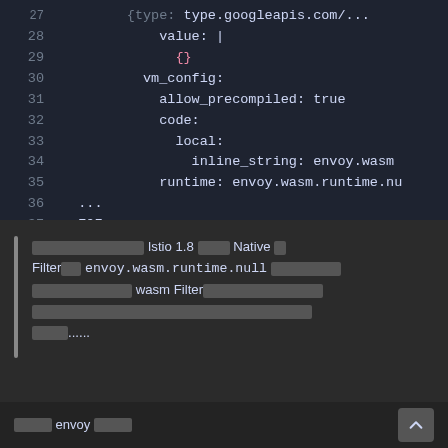[Figure (screenshot): Code editor showing YAML configuration lines 27-37 with Envoy/Istio Wasm filter configuration including vm_config, allow_precompiled, code, local, inline_string, runtime fields and EOF marker]
[redacted] Istio 1.8 [redacted] Native [redacted] Filter[redacted] envoy.wasm.runtime.null [redacted] [redacted] wasm Filter[redacted] [redacted]......
[redacted] envoy [redacted]